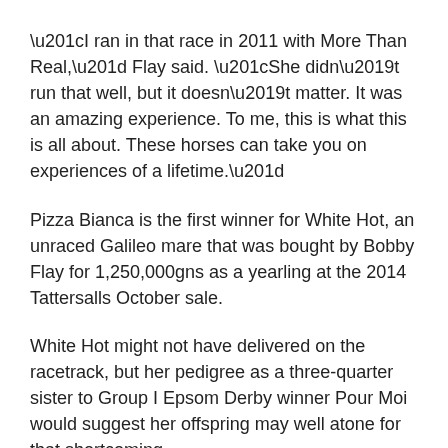“I ran in that race in 2011 with More Than Real,” Flay said. “She didn’t run that well, but it doesn’t matter. It was an amazing experience. To me, this is what this is all about. These horses can take you on experiences of a lifetime.”
Pizza Bianca is the first winner for White Hot, an unraced Galileo mare that was bought by Bobby Flay for 1,250,000gns as a yearling at the 2014 Tattersalls October sale.
White Hot might not have delivered on the racetrack, but her pedigree as a three-quarter sister to Group I Epsom Derby winner Pour Moi would suggest her offspring may well atone for that shortcoming.
Fastnet Rock has had Group I winners all over the world and stands at Coolmore Australia this spring at a fee of $165,000.